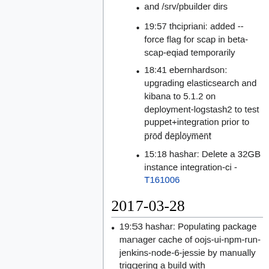and /srv/pbuilder dirs
19:57 thcipriani: added --force flag for scap in beta-scap-eqiad temporarily
18:41 ebernhardson: upgrading elasticsearch and kibana to 5.1.2 on deployment-logstash2 to test puppet+integration prior to prod deployment
15:18 hashar: Delete a 32GB instance integration-ci - T161006
2017-03-28
19:53 hashar: Populating package manager cache of oojs-ui-npm-run-jenkins-node-6-jessie by manually triggering a build with ZUUL_PIPELINE=postmerge T155483
19:34 hashar: Migrate oojs/ui to just